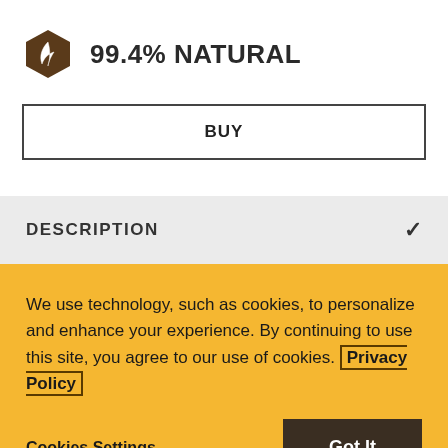[Figure (logo): Dark brown hexagon with a leaf icon inside]
99.4% NATURAL
BUY
DESCRIPTION
We use technology, such as cookies, to personalize and enhance your experience. By continuing to use this site, you agree to our use of cookies. Privacy Policy
Cookies Settings
Got It